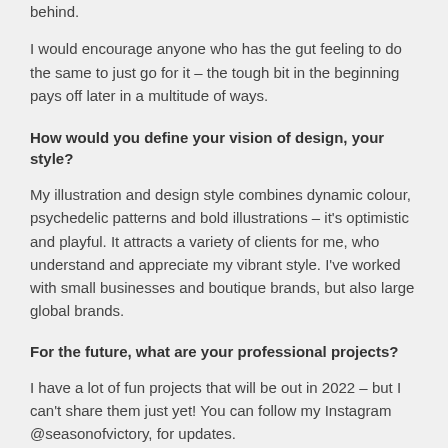behind.
I would encourage anyone who has the gut feeling to do the same to just go for it – the tough bit in the beginning pays off later in a multitude of ways.
How would you define your vision of design, your style?
My illustration and design style combines dynamic colour, psychedelic patterns and bold illustrations – it's optimistic and playful. It attracts a variety of clients for me, who understand and appreciate my vibrant style. I've worked with small businesses and boutique brands, but also large global brands.
For the future, what are your professional projects?
I have a lot of fun projects that will be out in 2022 – but I can't share them just yet! You can follow my Instagram @seasonofvictory, for updates.
What do you like the most in your job?
What I love most about being a freelance illustrator: being able to include personal projects into my schedule, making time for painting, learning, freedom, better income, variety, control and definitely more fun.
Every month is different and I work with really creative people. I love the